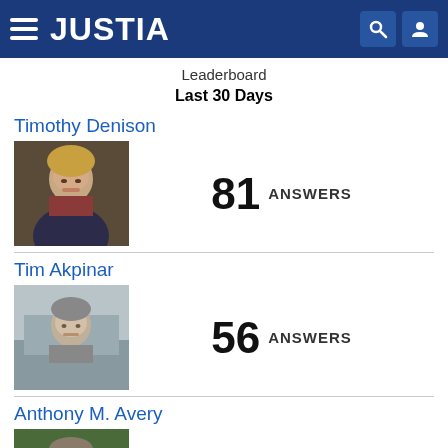JUSTIA
Leaderboard
Last 30 Days
Timothy Denison
81 ANSWERS
Tim Akpinar
56 ANSWERS
Anthony M. Avery
55 ANSWERS